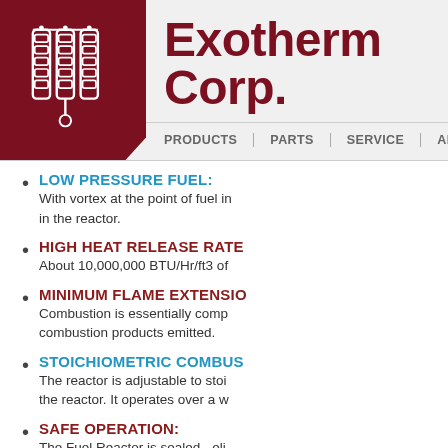Exotherm Corp.
PRODUCTS | PARTS | SERVICE | APPLIC...
LOW PRESSURE FUEL: With vortex at the point of fuel in in the reactor.
HIGH HEAT RELEASE RATE: About 10,000,000 BTU/Hr/ft3 of
MINIMUM FLAME EXTENSION: Combustion is essentially comp combustion products emitted.
STOICHIOMETRIC COMBUS: The reactor is adjustable to stoi the reactor. It operates over a w
SAFE OPERATION: The Fuel Reactor is sealed - eli completely automated and cont